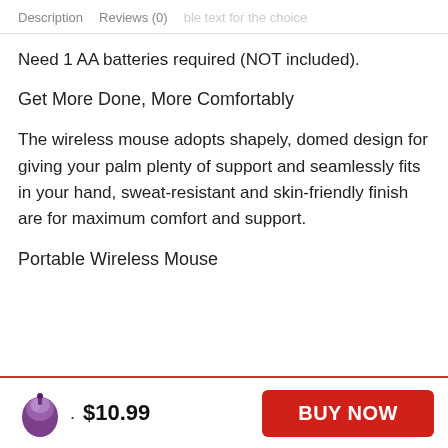Description   Reviews (0)   [faded text]
Need 1 AA batteries required (NOT included).
Get More Done, More Comfortably
The wireless mouse adopts shapely, domed design for giving your palm plenty of support and seamlessly fits in your hand, sweat-resistant and skin-friendly finish are for maximum comfort and support.
Portable Wireless Mouse
$10.99   BUY NOW